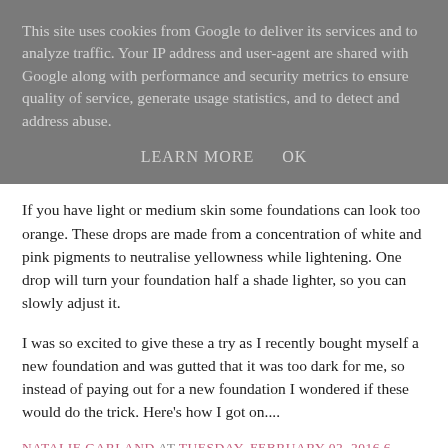This site uses cookies from Google to deliver its services and to analyze traffic. Your IP address and user-agent are shared with Google along with performance and security metrics to ensure quality of service, generate usage statistics, and to detect and address abuse.
LEARN MORE    OK
If you have light or medium skin some foundations can look too orange. These drops are made from a concentration of white and pink pigments to neutralise yellowness while lightening. One drop will turn your foundation half a shade lighter, so you can slowly adjust it.
I was so excited to give these a try as I recently bought myself a new foundation and was gutted that it was too dark for me, so instead of paying out for a new foundation I wondered if these would do the trick. Here's how I got on....
NATALIE GARLAND AT TUESDAY, FEBRUARY 02, 2016 6 COMMENTS: